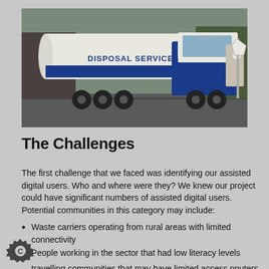[Figure (photo): A large blue and white tanker truck labeled 'DISPOSAL SERVICES' parked on a road, with trees and a road sign in the background.]
The Challenges
The first challenge that we faced was identifying our assisted digital users. Who and where were they? We knew our project could have significant numbers of assisted digital users. Potential communities in this category may include:
Waste carriers operating from rural areas with limited connectivity
People working in the sector that had low literacy levels
travelling communities that may have limited access nputers and/or a preference for cash transactions